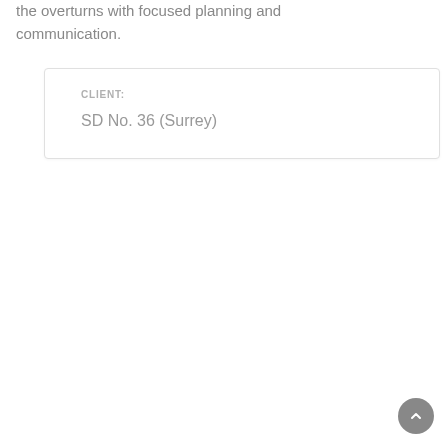the overturns with focused planning and communication.
| CLIENT: |
| --- |
| SD No. 36 (Surrey) |